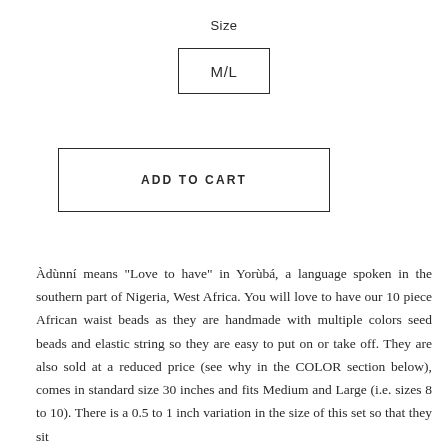Size
M/L
ADD TO CART
Àdùnní means "Love to have" in Yorùbá, a language spoken in the southern part of Nigeria, West Africa. You will love to have our 10 piece African waist beads as they are handmade with multiple colors seed beads and elastic string so they are easy to put on or take off. They are also sold at a reduced price (see why in the COLOR section below), comes in standard size 30 inches and fits Medium and Large (i.e. sizes 8 to 10). There is a 0.5 to 1 inch variation in the size of this set so that they sit